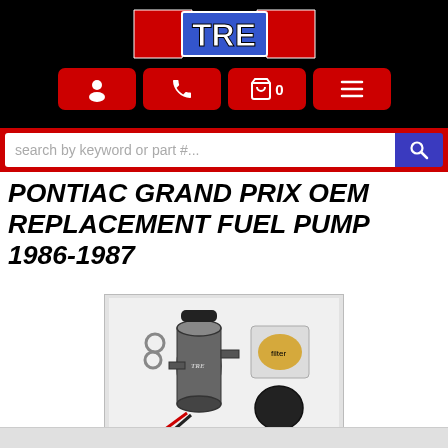[Figure (logo): TRE logo on black header background with red and blue angular design]
[Figure (screenshot): Navigation icon bar with red buttons: person icon, phone icon, shopping cart with 0, hamburger menu]
[Figure (screenshot): Search bar with placeholder text 'search by keyword or part #...' and blue search button]
PONTIAC GRAND PRIX OEM REPLACEMENT FUEL PUMP 1986-1987
[Figure (photo): Product photo of a fuel pump kit with cylindrical pump, wiring, hose clamps, filter/strainer in plastic bag, and rubber cap on white background]